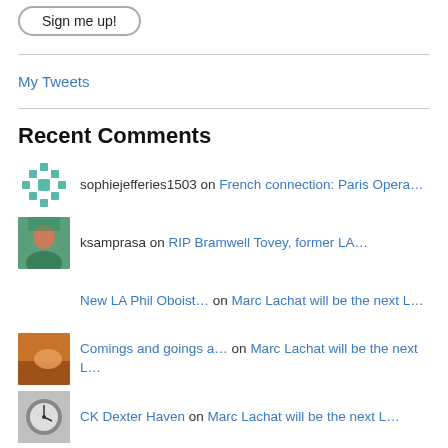Sign me up!
My Tweets
Recent Comments
sophiejefferies1503 on French connection: Paris Opera…
ksamprasa on RIP Bramwell Tovey, former LA…
New LA Phil Oboist… on Marc Lachat will be the next L…
Comings and goings a… on Marc Lachat will be the next L…
CK Dexter Haven on Marc Lachat will be the next L…
Lisa Hirsch on Marc Lachat will be the next L…
CK Dexter Haven on Marc Lachat will be the next L…